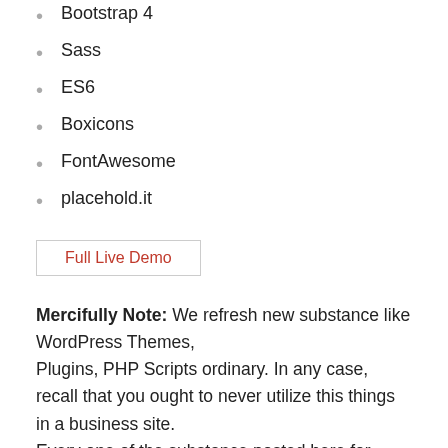Bootstrap 4
Sass
ES6
Boxicons
FontAwesome
placehold.it
Full Live Demo
Mercifully Note: We refresh new substance like WordPress Themes, Plugins, PHP Scripts ordinary. In any case, recall that you ought to never utilize this things in a business site. Every one of the substance posted here for advancement and testing reason as it were. We're not in charge of any harm, use at your own particular RISK! We highly recommend to buy Vibion – Vue JS Online Banking &